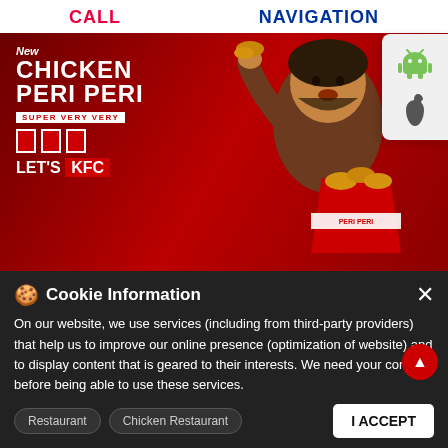CALL    NAVIGATION
[Figure (photo): KFC advertisement banner showing a man eating KFC Chicken Peri Peri with text 'New CHICKEN PERI PERI SUPER VERY VERY LET'S KFC' on red background, with KFC logo and bucket of chicken]
NEAREST KFC 100m →
Cookie Information
On our website, we use services (including from third-party providers) that help us to improve our online presence (optimization of website) and to display content that is geared to their interests. We need your consent before being able to use these services.
Restaurant
Chicken Restaurant
I ACCEPT